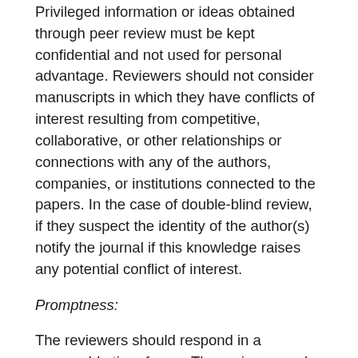Privileged information or ideas obtained through peer review must be kept confidential and not used for personal advantage. Reviewers should not consider manuscripts in which they have conflicts of interest resulting from competitive, collaborative, or other relationships or connections with any of the authors, companies, or institutions connected to the papers. In the case of double-blind review, if they suspect the identity of the author(s) notify the journal if this knowledge raises any potential conflict of interest.
Promptness:
The reviewers should respond in a reasonable time-frame. The reviewers only agree to review a manuscript if they are fairly confident they can return a review within the proposed or mutually agreed time-frame, informing the journal promptly if they require an extension. In the event that a reviewer feels it is not possible for him/her to complete review of manuscript within stipulated time then this information must be communicated to the editor, so